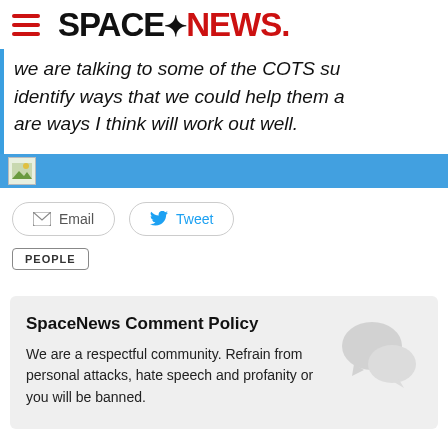SPACENEWS
we are talking to some of the COTS su- identify ways that we could help them a- are ways I think will work out well.
Email   Tweet
PEOPLE
SpaceNews Comment Policy
We are a respectful community. Refrain from personal attacks, hate speech and profanity or you will be banned.